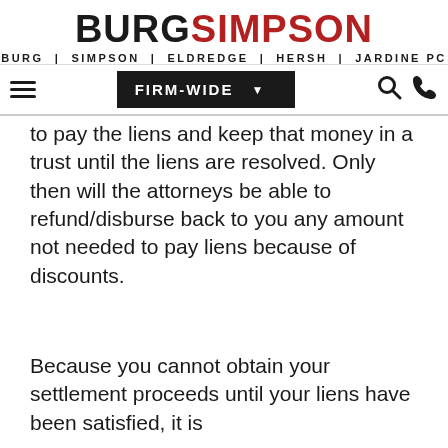BURGSIMPSON — BURG | SIMPSON | ELDREDGE | HERSH | JARDINE PC
to pay the liens and keep that money in a trust until the liens are resolved. Only then will the attorneys be able to refund/disburse back to you any amount not needed to pay liens because of discounts.
Because you cannot obtain your settlement proceeds until your liens have been satisfied, it is